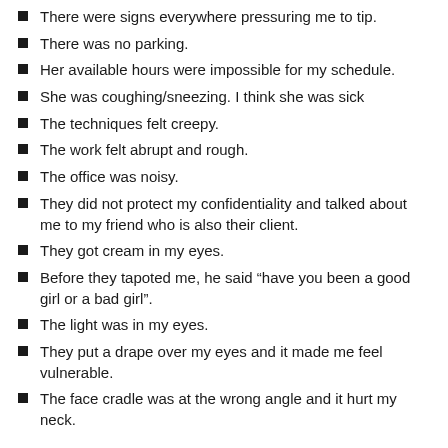There were signs everywhere pressuring me to tip.
There was no parking.
Her available hours were impossible for my schedule.
She was coughing/sneezing. I think she was sick
The techniques felt creepy.
The work felt abrupt and rough.
The office was noisy.
They did not protect my confidentiality and talked about me to my friend who is also their client.
They got cream in my eyes.
Before they tapoted me, he said “have you been a good girl or a bad girl”.
The light was in my eyes.
They put a drape over my eyes and it made me feel vulnerable.
The face cradle was at the wrong angle and it hurt my neck.